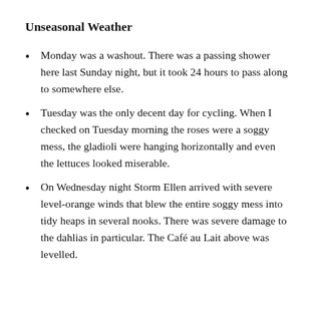Unseasonal Weather
Monday was a washout. There was a passing shower here last Sunday night, but it took 24 hours to pass along to somewhere else.
Tuesday was the only decent day for cycling. When I checked on Tuesday morning the roses were a soggy mess, the gladioli were hanging horizontally and even the lettuces looked miserable.
On Wednesday night Storm Ellen arrived with severe level-orange winds that blew the entire soggy mess into tidy heaps in several nooks. There was severe damage to the dahlias in particular. The Café au Lait above was levelled.